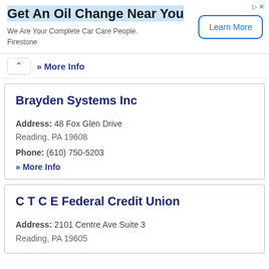[Figure (other): Advertisement banner for Firestone oil change service with title 'Get An Oil Change Near You', subtitle 'We Are Your Complete Car Care People. Firestone', and a 'Learn More' button]
» More Info
Brayden Systems Inc
Address: 48 Fox Glen Drive
Reading, PA 19608
Phone: (610) 750-5203
» More Info
C T C E Federal Credit Union
Address: 2101 Centre Ave Suite 3
Reading, PA 19605